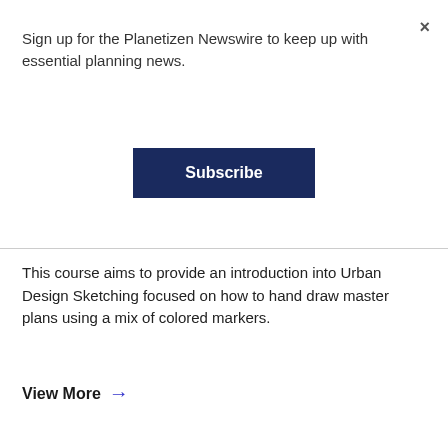×
Sign up for the Planetizen Newswire to keep up with essential planning news.
Subscribe
This course aims to provide an introduction into Urban Design Sketching focused on how to hand draw master plans using a mix of colored markers.
View More →